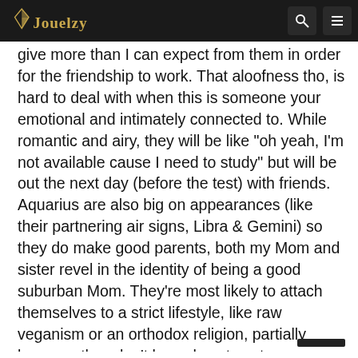Jouelzy [logo] [search icon] [menu icon]
give more than I can expect from them in order for the friendship to work. That aloofness tho, is hard to deal with when this is someone your emotional and intimately connected to. While romantic and airy, they will be like "oh yeah, I'm not available cause I need to study" but will be out the next day (before the test) with friends. Aquarius are also big on appearances (like their partnering air signs, Libra & Gemini) so they do make good parents, both my Mom and sister revel in the identity of being a good suburban Mom. They're most likely to attach themselves to a strict lifestyle, like raw veganism or an orthodox religion, partially because they don't know how to set boundaries on their own. It's so weird girl…free flying but want to perceived a certain so their go hard with a particular lifestyle.